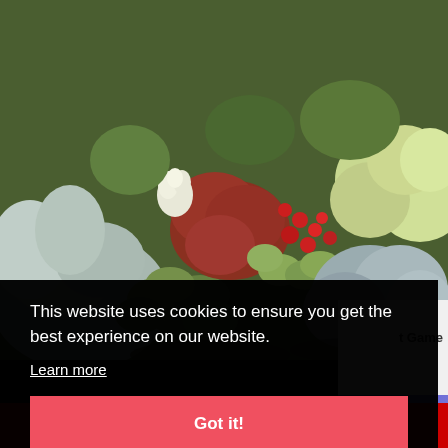[Figure (photo): Close-up photograph of a variety of colorful succulent plants, including green, red, and grey-blue succulents arranged densely together.]
This website uses cookies to ensure you get the best experience on our website.
Learn more
Got it!